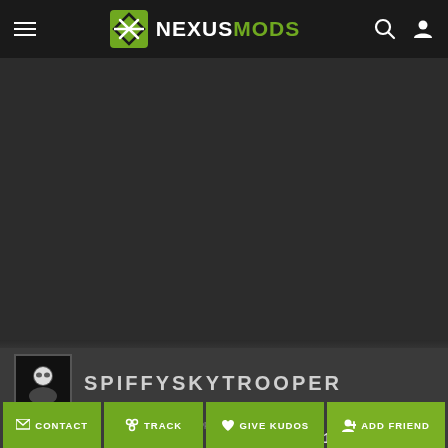NEXUSMODS
[Figure (photo): Dark banner/cover image area]
SPIFFYSKYTROOPER
Endorsements given 3536   Profile views 310,220   Topics 5   Posts 4,481   Kudos 1,611
CONTACT  TRACK  GIVE KUDOS  ADD FRIEND